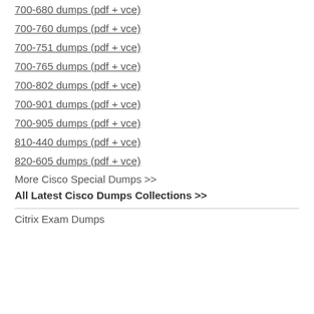700-680 dumps (pdf + vce)
700-760 dumps (pdf + vce)
700-751 dumps (pdf + vce)
700-765 dumps (pdf + vce)
700-802 dumps (pdf + vce)
700-901 dumps (pdf + vce)
700-905 dumps (pdf + vce)
810-440 dumps (pdf + vce)
820-605 dumps (pdf + vce)
More Cisco Special Dumps >>
All Latest Cisco Dumps Collections >>
Citrix Exam Dumps